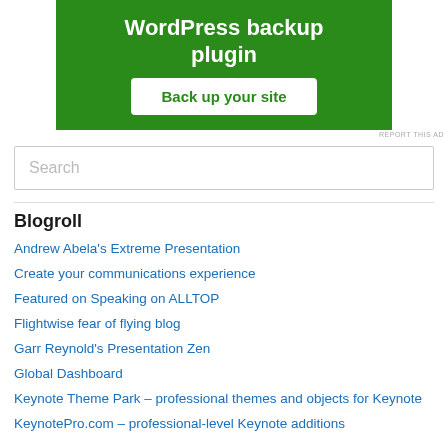[Figure (screenshot): Green advertisement banner for a WordPress backup plugin with a white 'Back up your site' button]
REPORT THIS AD
Search
Blogroll
Andrew Abela's Extreme Presentation
Create your communications experience
Featured on Speaking on ALLTOP
Flightwise fear of flying blog
Garr Reynold's Presentation Zen
Global Dashboard
Keynote Theme Park – professional themes and objects for Keynote
KeynotePro.com – professional-level Keynote additions